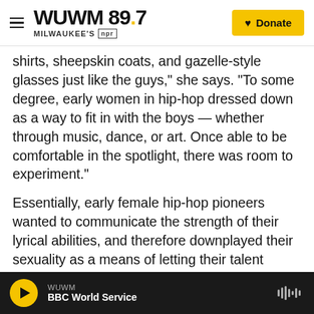WUWM 89.7 MILWAUKEE'S NPR | Donate
shirts, sheepskin coats, and gazelle-style glasses just like the guys," she says. "To some degree, early women in hip-hop dressed down as a way to fit in with the boys — whether through music, dance, or art. Once able to be comfortable in the spotlight, there was room to experiment."
Essentially, early female hip-hop pioneers wanted to communicate the strength of their lyrical abilities, and therefore downplayed their sexuality as a means of letting their talent shine. Romero cites Roxanne Shante, Salt-N-Pepa, MC Lyte, and Queen Latifah — who brought an afro-centric
WUWM — BBC World Service